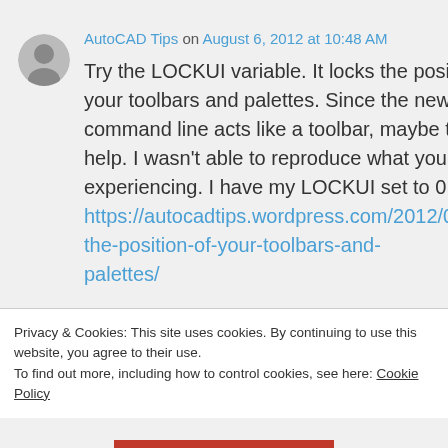AutoCAD Tips on August 6, 2012 at 10:48 AM
Try the LOCKUI variable. It locks the position of your toolbars and palettes. Since the new command line acts like a toolbar, maybe this will help. I wasn't able to reproduce what you are experiencing. I have my LOCKUI set to 0. https://autocadtips.wordpress.com/2012/06/04/lock-the-position-of-your-toolbars-and-palettes/
Privacy & Cookies: This site uses cookies. By continuing to use this website, you agree to their use. To find out more, including how to control cookies, see here: Cookie Policy
Close and accept